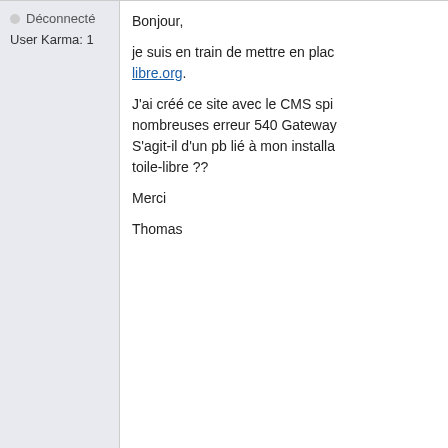Déconnecté
User Karma: 1
Bonjour,

je suis en train de mettre en place libre.org.

J'ai créé ce site avec le CMS spi nombreuses erreur 540 Gateway S'agit-il d'un pb lié à mon installa toile-libre ??

Merci

Thomas
👍 +1 👎
Deprecated: preg_replace(): The /e modifier is deprecated, use preg_replace_callback instead in /data/web/4/0/forum.toile-libre.org/htdocs/include/parser.php on line 738 Deprecated: preg_replace(): preg_replace_callback instead in /data/web/4/0/forum.toile-libre.org/htdocs/ preg_replace(): The /e modifier is deprecated, use preg_replace_callback inste libre.org/htdocs/include/parser.php on line 738 Deprecated: preg_replace(): preg_replace_callback instead in /data/web/4/0/forum.toile-libre.org/htdocs/ preg_replace(): The /e modifier is deprecated, use preg_replace_callback inste libre.org/htdocs/include/parser.php on line 738
fabuzz
2014-05-26 15:17:21
Membre